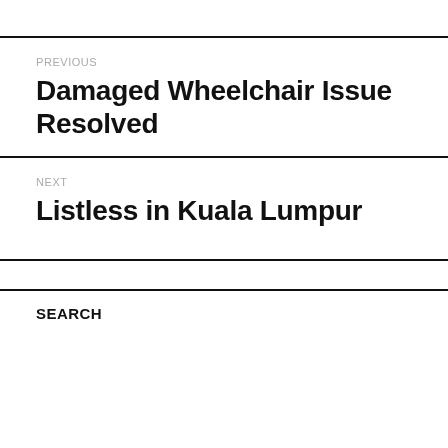PREVIOUS
Damaged Wheelchair Issue Resolved
NEXT
Listless in Kuala Lumpur
SEARCH